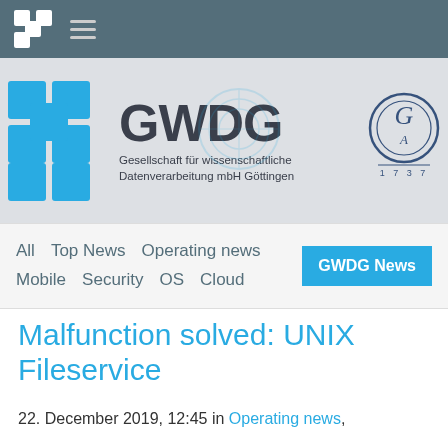GWDG navigation bar with logo and hamburger menu
[Figure (logo): GWDG logo banner: blue cross/plus icon, GWDG text, Gesellschaft für wissenschaftliche Datenverarbeitung mbH Göttingen, and Göttingen Academy circular seal]
All  Top News  Operating news  Mobile  Security  OS  Cloud  GWDG News
Malfunction solved: UNIX Fileservice
22. December 2019, 12:45 in Operating news,